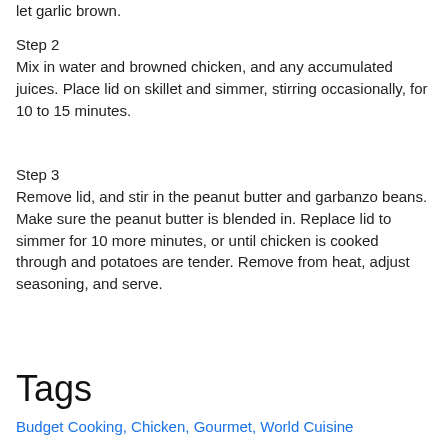let garlic brown.
Step 2
Mix in water and browned chicken, and any accumulated juices. Place lid on skillet and simmer, stirring occasionally, for 10 to 15 minutes.
Step 3
Remove lid, and stir in the peanut butter and garbanzo beans. Make sure the peanut butter is blended in. Replace lid to simmer for 10 more minutes, or until chicken is cooked through and potatoes are tender. Remove from heat, adjust seasoning, and serve.
Tags
Budget Cooking, Chicken, Gourmet, World Cuisine